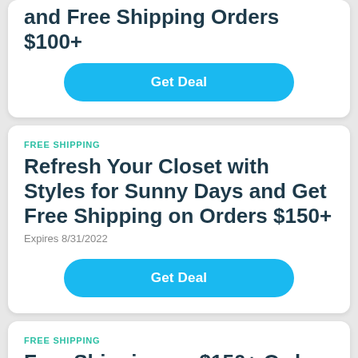and Free Shipping Orders $100+
Get Deal
FREE SHIPPING
Refresh Your Closet with Styles for Sunny Days and Get Free Shipping on Orders $150+
Expires 8/31/2022
Get Deal
FREE SHIPPING
Free Shipping on $150+ Order